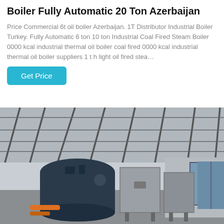Boiler Fully Automatic 20 Ton Azerbaijan
Price Commercial 6t oil boiler Azerbaijan. 1T Distributor Industrial Boiler Turkey. Fully Automatic 6 ton 10 ton Industrial Coal Fired Steam Boiler 0000 kcal industrial thermal oil boiler coal fired 0000 kcal industrial thermal oil boiler suppliers 1 t h light oil fired stea…
[Figure (other): Button labeled 'Get Price' with cyan/teal background]
[Figure (photo): Industrial boiler equipment inside a large warehouse/factory with metal roof trusses. A large dark blue cylindrical boiler and grey rectangular industrial units are visible. A WhatsApp contact badge overlays the lower left of the image.]